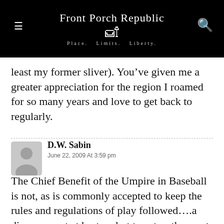Front Porch Republic — Place. Limits. Liberty.
least my former sliver). You've given me a greater appreciation for the region I roamed for so many years and love to get back to regularly.
D.W. Sabin
June 22, 2009 At 3:59 pm
The Chief Benefit of the Umpire in Baseball is not, as is commonly accepted to keep the rules and regulations of play followed….a dim prospect at best…. but to act as the most important lightening